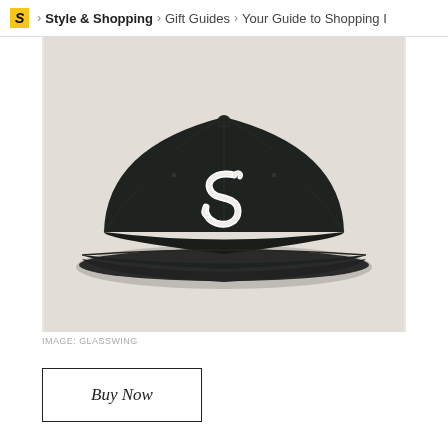S > Style & Shopping > Gift Guides > Your Guide to Shopping I
[Figure (photo): A dark navy/black wool baseball cap with a white embroidered script 'S' letter on the front, photographed against a light beige background.]
IMAGE: GLASSWING
Buy Now